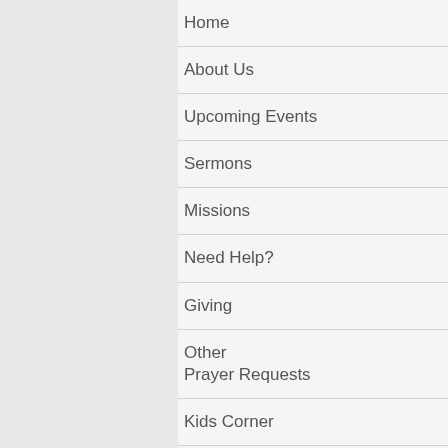Home
About Us
Upcoming Events
Sermons
Missions
Need Help?
Giving
Other
Prayer Requests
Kids Corner
Devotionals
Social Media